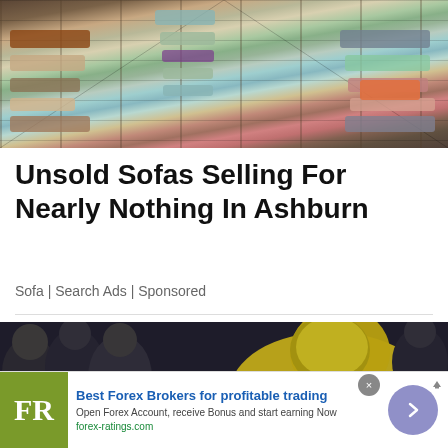[Figure (photo): Overhead view of a large furniture showroom filled with rows of sofas and couches in various colors and styles]
Unsold Sofas Selling For Nearly Nothing In Ashburn
Sofa | Search Ads | Sponsored
[Figure (photo): A cyclist in a yellow jersey and gold helmet leaning forward intensely, surrounded by spectators in a crowd]
[Figure (logo): FR logo on olive/green background, advertisement for Best Forex Brokers for profitable trading]
Best Forex Brokers for profitable trading
Open Forex Account, receive Bonus and start earning Now
forex-ratings.com